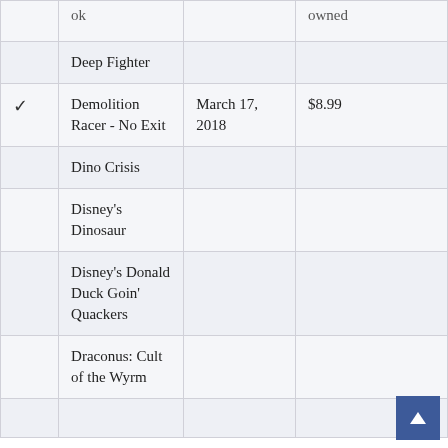| (owned) | Title | Date | Price |
| --- | --- | --- | --- |
|  | Deep Fighter |  |  |
| ✓ | Demolition Racer - No Exit | March 17, 2018 | $8.99 |
|  | Dino Crisis |  |  |
|  | Disney's Dinosaur |  |  |
|  | Disney's Donald Duck Goin' Quackers |  |  |
|  | Draconus: Cult of the Wyrm |  |  |